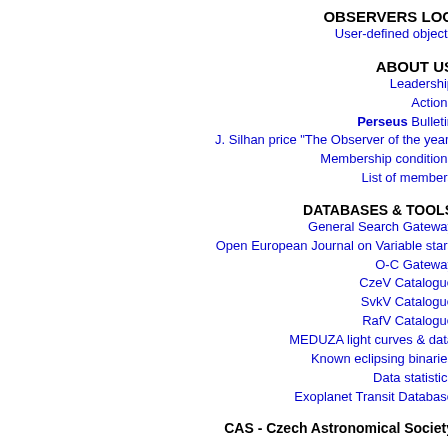OBSERVERS LOG
User-defined objects
ABOUT US
Leadership
Actions
Perseus Bulletin
J. Silhan price "The Observer of the year"
Membership conditions
List of members
DATABASES & TOOLS
General Search Gateway
Open European Journal on Variable stars
O-C Gateway
CzeV Catalogue
SvkV Catalogue
RafV Catalogue
MEDUZA light curves & data
Known eclipsing binaries
Data statistics
Exoplanet Transit Database
CAS - Czech Astronomical Society
| # | Object | Date/Time | Filter | . |  |
| --- | --- | --- | --- | --- | --- |
| 10 | TOI3604.01 Cep
TRESCA | 9.10.2021 20:21-0:34 UT | I | · | 5 |
| 9 | TOI1518.01 Cep
TRESCA | 16.10.2021 18:25-23:38 UT | I | · | 0 1 |